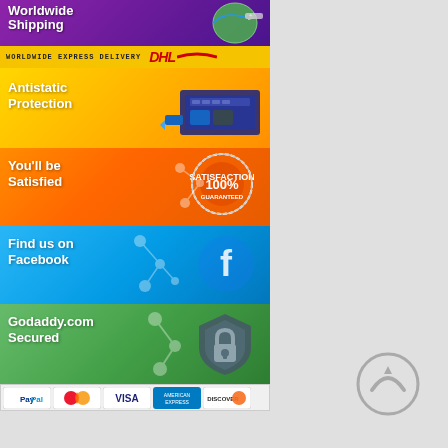[Figure (illustration): Worldwide Shipping banner - purple background with airplane and globe graphic, white bold text]
[Figure (illustration): DHL Worldwide Express Delivery banner - yellow background with DHL red logo]
[Figure (illustration): Antistatic Protection banner - yellow/gold background with circuit board graphic]
[Figure (illustration): You'll be Satisfied banner - orange gradient with 100% Satisfaction Guaranteed badge]
[Figure (illustration): Find us on Facebook banner - blue gradient with Facebook logo graphic]
[Figure (illustration): Godaddy.com Secured banner - green background with padlock shield graphic]
[Figure (illustration): Payment icons row: PayPal, Mastercard, Visa, American Express, Discover]
[Figure (illustration): Back to top circular arrow button on grey background]